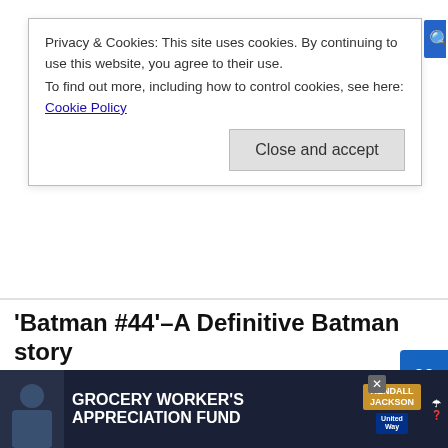Privacy & Cookies: This site uses cookies. By continuing to use this website, you agree to their use.
To find out more, including how to control cookies, see here: Cookie Policy
Close and accept
'Batman #44'–A Definitive Batman story
September 9, 2015   Corrina Lawson
Batman #44 is an instant classic, the classic characters Sgt. Rock and Enemy Ace re-appear, and Starfire keeps winning allies in this week's new releases from DC Comics.
Continue Reading
GROCERY WORKER'S APPRECIATION FUND